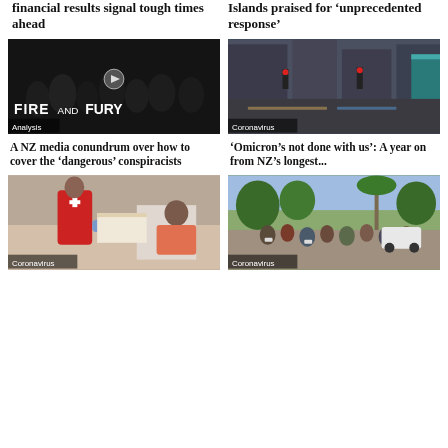financial results signal tough times ahead
Islands praised for 'unprecedented response'
[Figure (photo): Dark image with 'Fire and Fury' text overlay, crowd/military scene, Analysis label]
A NZ media conundrum over how to cover the 'dangerous' conspiracists
[Figure (photo): Rainy city street scene with red traffic lights, Coronavirus label]
'Omicron's not done with us': A year on from NZ's longest...
[Figure (photo): Red Cross worker assisting elderly person, Coronavirus label]
[Figure (photo): Crowd of people outdoors on street, tropical setting, Coronavirus label]